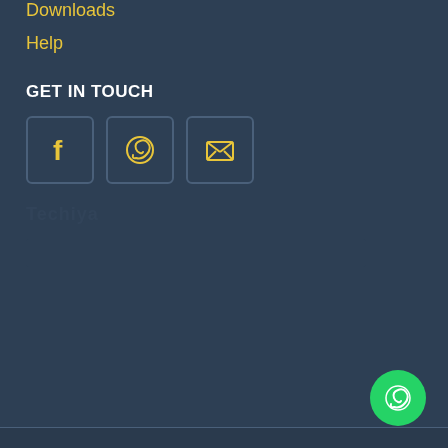Downloads
Help
GET IN TOUCH
[Figure (infographic): Three social media icon boxes: Facebook (f), WhatsApp (phone/circle icon), and Email (envelope with X) rendered as bordered square buttons with yellow icons on dark background]
Email: support@techiya.in
© 2022 Techiya.in